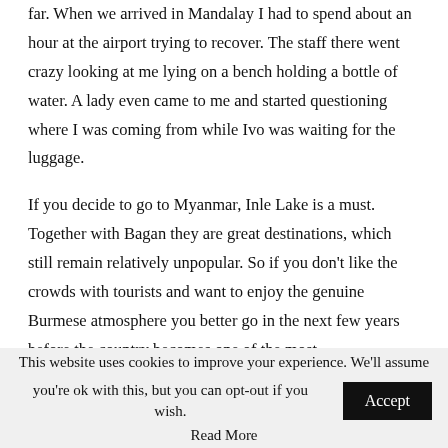far. When we arrived in Mandalay I had to spend about an hour at the airport trying to recover. The staff there went crazy looking at me lying on a bench holding a bottle of water. A lady even came to me and started questioning where I was coming from while Ivo was waiting for the luggage.
If you decide to go to Myanmar, Inle Lake is a must. Together with Bagan they are great destinations, which still remain relatively unpopular. So if you don't like the crowds with tourists and want to enjoy the genuine Burmese atmosphere you better go in the next few years before the country becomes one of the most
This website uses cookies to improve your experience. We'll assume you're ok with this, but you can opt-out if you wish. Accept Read More